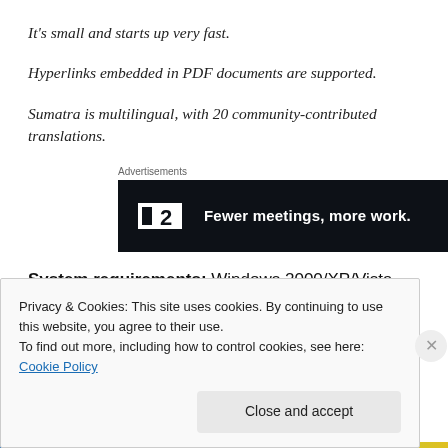It's small and starts up very fast.
Hyperlinks embedded in PDF documents are supported.
Sumatra is multilingual, with 20 community-contributed translations.
[Figure (screenshot): Advertisement banner with dark background showing a logo (square with cutout) and number 2, with text 'Fewer meetings, more work.']
System requirements: Windows 2000/XP/Vista
Privacy & Cookies: This site uses cookies. By continuing to use this website, you agree to their use.
To find out more, including how to control cookies, see here: Cookie Policy